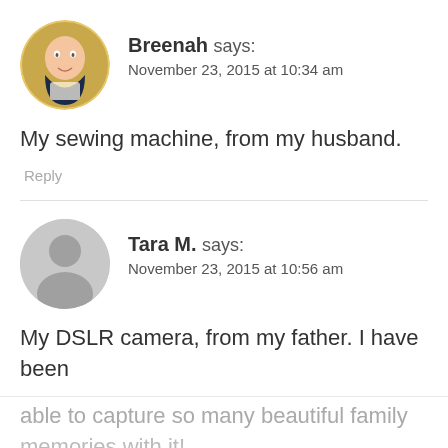[Figure (photo): Circular avatar photo of Breenah, a woman holding a mug]
Breenah says:
November 23, 2015 at 10:34 am
My sewing machine, from my husband.
Reply
[Figure (illustration): Generic gray circular avatar silhouette for Tara M.]
Tara M. says:
November 23, 2015 at 10:56 am
My DSLR camera, from my father. I have been
able to capture so many beautiful family
memories with it!